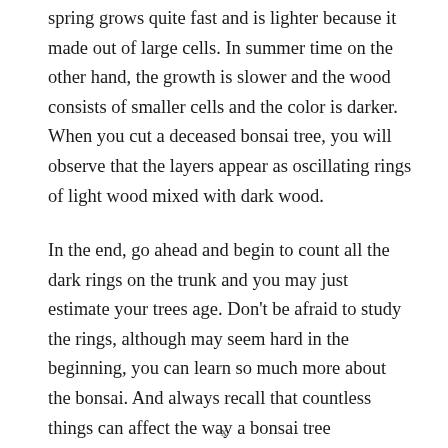spring grows quite fast and is lighter because it made out of large cells. In summer time on the other hand, the growth is slower and the wood consists of smaller cells and the color is darker. When you cut a deceased bonsai tree, you will observe that the layers appear as oscillating rings of light wood mixed with dark wood.
In the end, go ahead and begin to count all the dark rings on the trunk and you may just estimate your trees age. Don't be afraid to study the rings, although may seem hard in the beginning, you can learn so much more about the bonsai. And always recall that countless things can affect the way a bonsai tree
x